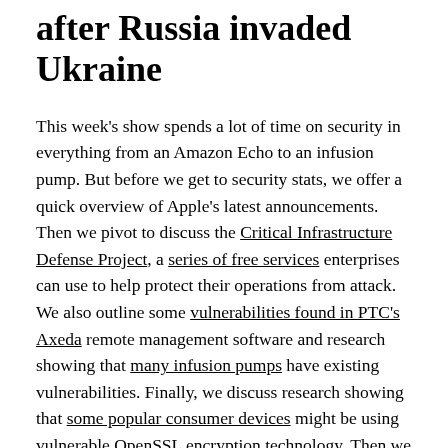after Russia invaded Ukraine
This week's show spends a lot of time on security in everything from an Amazon Echo to an infusion pump. But before we get to security stats, we offer a quick overview of Apple's latest announcements. Then we pivot to discuss the Critical Infrastructure Defense Project, a series of free services enterprises can use to help protect their operations from attack. We also outline some vulnerabilities found in PTC's Axeda remote management software and research showing that many infusion pumps have existing vulnerabilities. Finally, we discuss research showing that some popular consumer devices might be using vulnerable OpenSSL encryption technology. Then we talk about the end of another French unlicensed low-power wide area network and Space Force adding wearables to ensure the members of